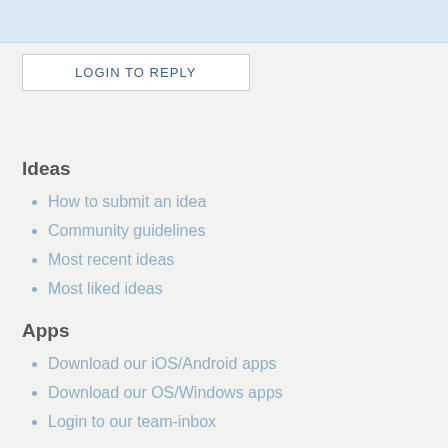[Figure (other): Top banner area with light blue background, partially visible UI element]
LOGIN TO REPLY
Ideas
How to submit an idea
Community guidelines
Most recent ideas
Most liked ideas
Apps
Download our iOS/Android apps
Download our OS/Windows apps
Login to our team-inbox